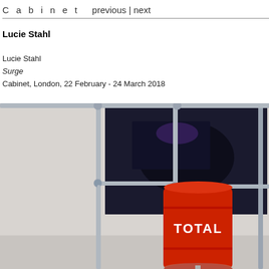C a b i n e t    previous | next
Lucie Stahl
Lucie Stahl
Surge
Cabinet, London, 22 February - 24 March 2018
[Figure (photo): Installation view showing metal scaffolding pipe structure with red Total oil drum and black/red Texaco oil drums, with a dark photographic print mounted behind on the scaffolding. White gallery background.]